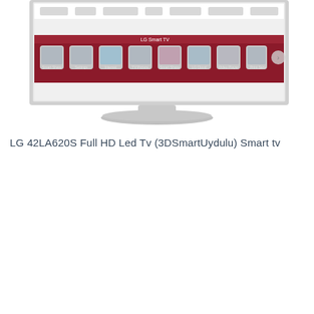[Figure (screenshot): LG Smart TV showing the LG Smart TV interface with app icons including Smart Share, TV Picture, Smart Share, LG Cloud, Video Library and other apps on screen. The TV has a silver stand.]
LG 42LA620S Full HD Led Tv (3DSmartUydulu) Smart tv